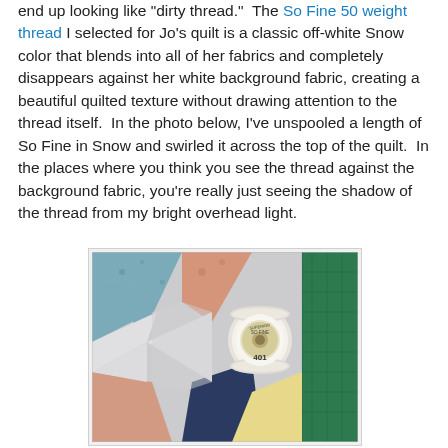end up looking like "dirty thread."  The So Fine 50 weight thread I selected for Jo's quilt is a classic off-white Snow color that blends into all of her fabrics and completely disappears against her white background fabric, creating a beautiful quilted texture without drawing attention to the thread itself.  In the photo below, I've unspooled a length of So Fine in Snow and swirled it across the top of the quilt.  In the places where you think you see the thread against the background fabric, you're really just seeing the shadow of the thread from my bright overhead light.
[Figure (photo): A photo of a quilt with a pinwheel/star pattern in floral fabrics (pink, blue, navy, yellow) on a white/grey background, with a white spool of Superior Threads So Fine #401 thread resting on top.]